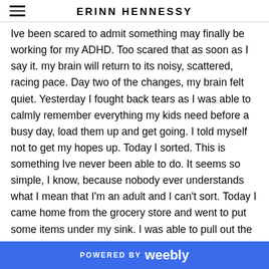ERINN HENNESSY
Ive been scared to admit something may finally be working for my ADHD. Too scared that as soon as I say it. my brain will return to its noisy, scattered, racing pace. Day two of the changes, my brain felt quiet. Yesterday I fought back tears as I was able to calmly remember everything my kids need before a busy day, load them up and get going. I told myself not to get my hopes up. Today I sorted. This is something Ive never been able to do. It seems so simple, I know, because nobody ever understands what I mean that I'm an adult and I can't sort. Today I came home from the grocery store and went to put some items under my sink. I was able to pull out the cluttered baskets of hygiene, health and cleaning products and sort them into organized bins and throw away outdates stuff. I did it in about 5 minutes. It just made sense. It didnt look like the normal cluttered amalgamation. I could see the different parts!!!!! I have only been able to do this on
POWERED BY weebly